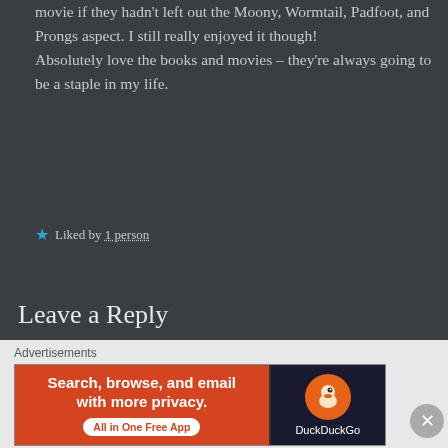movie if they hadn't left out the Moony, Wormtail, Padfoot, and Prongs aspect. I still really enjoyed it though! Absolutely love the books and movies – they're always going to be a staple in my life.
Liked by 1 person
Leave a Reply
Your email address will not be published. Required
[Figure (screenshot): DuckDuckGo advertisement banner: orange left section with white text 'Search, browse, and email with more privacy. All in One Free App' and dark right section with DuckDuckGo logo and duck icon.]